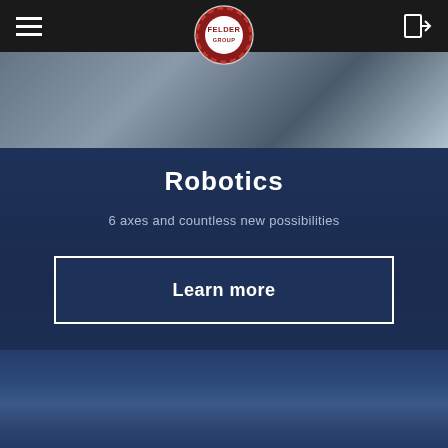[Figure (photo): Navigation bar with hamburger menu icon on the left, Felder Group logo (gear/cog badge) in the center top, and login icon on the right, on a dark background. Below is a partial hero image of industrial/robotics machinery.]
Robotics
6 axes and countless new possibilities
Learn more
[Figure (photo): Dark blue gradient area representing the lower portion of the page, showing a blurred or faded background image.]